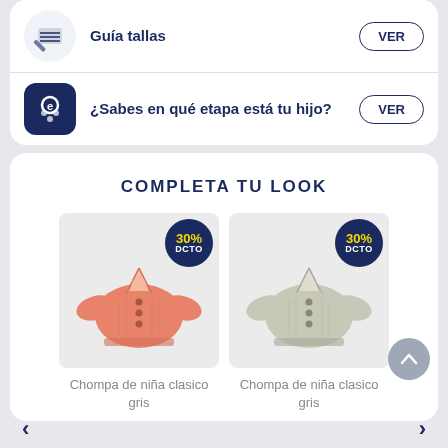Guía tallas
VER
¿Sabes en qué etapa está tu hijo?
VER
COMPLETA TU LOOK
[Figure (photo): Salmon/pink knit cardigan for girls with round buttons and V-neck, with 30% DCTO badge]
Chompa de niña clasico gris
[Figure (photo): Gray knit cardigan for girls with round buttons and V-neck, with 30% DCTO badge]
Chompa de niña clasico gris